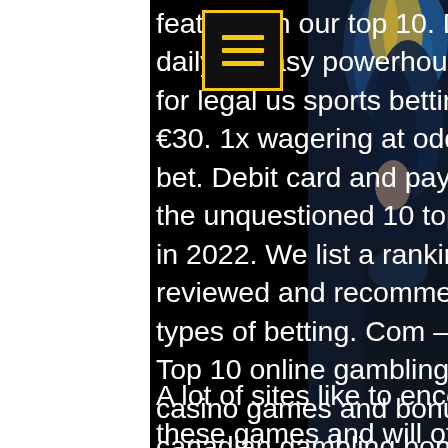featured in our top 10. Draftkings has grown from daily fantasy powerhouse to one of the best options for legal us sports betting. deposit matched up to €30. 1x wagering at odds of 1. 75+ to unlock free bet. Debit card and paypal deposits only. Find here the unquestioned 10 top online casino sites to play in 2022. We list a ranking of the best online casinos reviewed and recommended. Com – best for all types of betting. Com – best for regular promotions. Top 10 online gambling sites (2022) - find the top casino games and bonuses. Get an exclusive canadian gambling bonus up to c$1600. Top 10 online gambling leo vegas casino legit sites 2022 best real money. Simply log into your preferred casino or sports betting website to
A lot of sites like to encourage new players to try out these games and will offer live casino deals if you sign up. This could be a
[Figure (photo): Background image on the right side showing a dancer or performer with colorful blue and yellow feathered costume against a dark background]